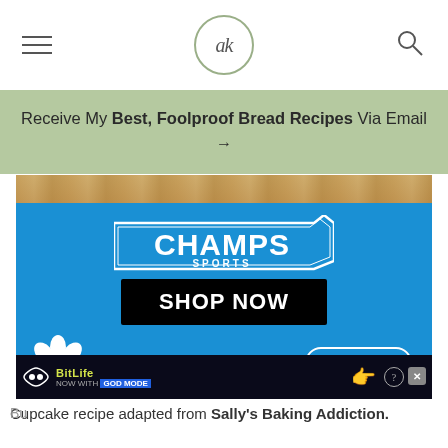ak (logo) - navigation header with hamburger menu and search icon
Receive My Best, Foolproof Bread Recipes Via Email →
[Figure (photo): Top portion of bread loaves image, partially visible behind banner overlay]
[Figure (screenshot): Champs Sports advertisement banner with blue background, Champs Sports logo, SHOP NOW button in black, Adidas trefoil logo, and OZWEEGO text]
Cupcake recipe adapted from Sally's Baking Addiction.
[Figure (screenshot): BitLife advertisement: NOW WITH GOD MODE banner with hand pointing graphic and question mark/close buttons]